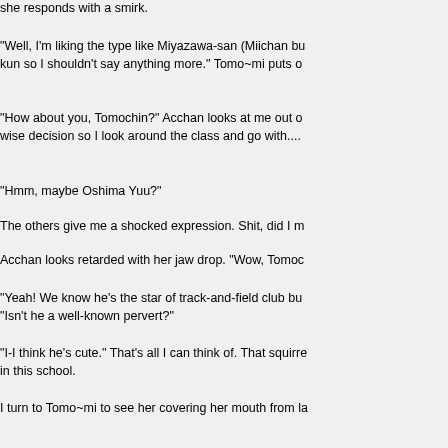she responds with a smirk.
"Well, I'm liking the type like Miyazawa-san (Miichan bu... kun so I shouldn't say anything more." Tomo~mi puts o...
"How about you, Tomochin?" Acchan looks at me out o... wise decision so I look around the class and go with....
"Hmm, maybe Oshima Yuu?"
The others give me a shocked expression. Shit, did I m...
Acchan looks retarded with her jaw drop. "Wow, Tomoc...
"Yeah! We know he's the star of track-and-field club bu... "Isn't he a well-known pervert?"
"I-I think he's cute." That's all I can think of. That squirre... in this school.
I turn to Tomo~mi to see her covering her mouth from la...
"Ouch!" Tomo~mi glares at me for what I've just done to...
"Anyway, I heard that he likes our math teacher, Miss K...
"Eh?!" Acchan, Miichan, and I shriek from the shock.
"Sssshh, not so loud!" Tomo~mi hushes us as the othe...